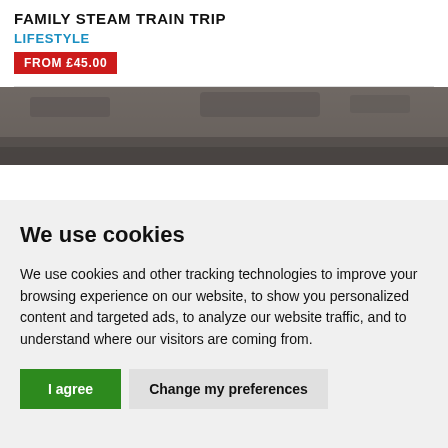FAMILY STEAM TRAIN TRIP
LIFESTYLE
FROM £45.00
[Figure (photo): Dark textured background photo strip showing what appears to be a steam train scene]
We use cookies
We use cookies and other tracking technologies to improve your browsing experience on our website, to show you personalized content and targeted ads, to analyze our website traffic, and to understand where our visitors are coming from.
I agree | Change my preferences